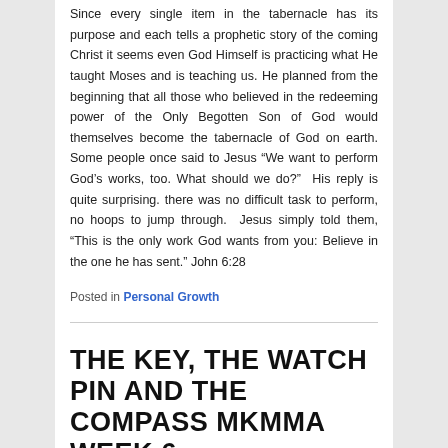Since every single item in the tabernacle has its purpose and each tells a prophetic story of the coming Christ it seems even God Himself is practicing what He taught Moses and is teaching us. He planned from the beginning that all those who believed in the redeeming power of the Only Begotten Son of God would themselves become the tabernacle of God on earth. Some people once said to Jesus “We want to perform God’s works, too. What should we do?”  His reply is quite surprising. there was no difficult task to perform, no hoops to jump through.  Jesus simply told them, “This is the only work God wants from you: Believe in the one he has sent.” John 6:28
Posted in Personal Growth
THE KEY, THE WATCH PIN AND THE COMPASS MKMMA WEEK 6